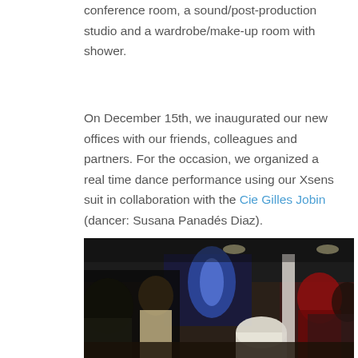conference room, a sound/post-production studio and a wardrobe/make-up room with shower.
On December 15th, we inaugurated our new offices with our friends, colleagues and partners. For the occasion, we organized a real time dance performance using our Xsens suit in collaboration with the Cie Gilles Jobin (dancer: Susana Panadés Diaz).
[Figure (photo): Indoor event photo showing people watching a dance performance in a dark venue. A blue projection screen is visible in the background with a figure displayed on it. Attendees are visible in the foreground, including a person looking up and a person in a red jacket on the right.]